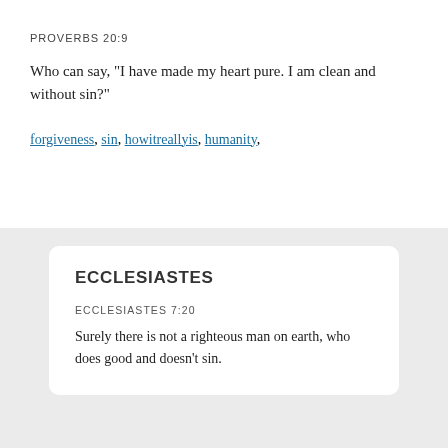PROVERBS 20:9
Who can say, "I have made my heart pure. I am clean and without sin?"
forgiveness, sin, howitreallyis, humanity,
ECCLESIASTES
ECCLESIASTES 7:20
Surely there is not a righteous man on earth, who does good and doesn't sin.